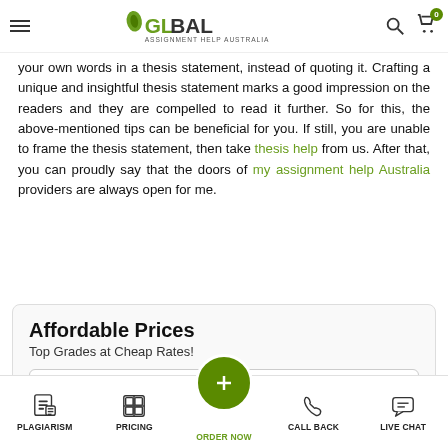Global Assignment Help Australia
your own words in a thesis statement, instead of quoting it. Crafting a unique and insightful thesis statement marks a good impression on the readers and they are compelled to read it further. So for this, the above-mentioned tips can be beneficial for you. If still, you are unable to frame the thesis statement, then take thesis help from us. After that, you can proudly say that the doors of my assignment help Australia providers are always open for me.
Affordable Prices
Top Grades at Cheap Rates!
Select Services
PLAGIARISM   PRICING   ORDER NOW   CALL BACK   LIVE CHAT